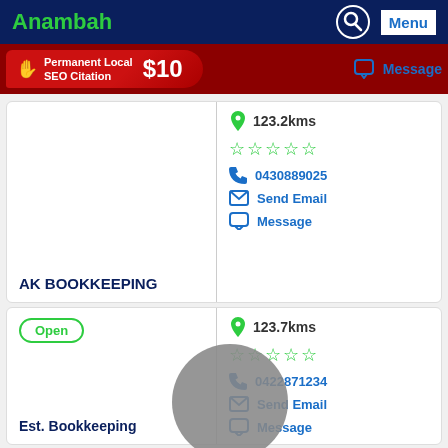Anambah | Menu
[Figure (infographic): Red promotional banner: Permanent Local SEO Citation $10]
Message (partial top card)
AK BOOKKEEPING | 123.2kms | 0430889025 | Send Email | Message
Open | 123.7kms | 0422871234 | Send Email | Message
Est. Bookkeeping